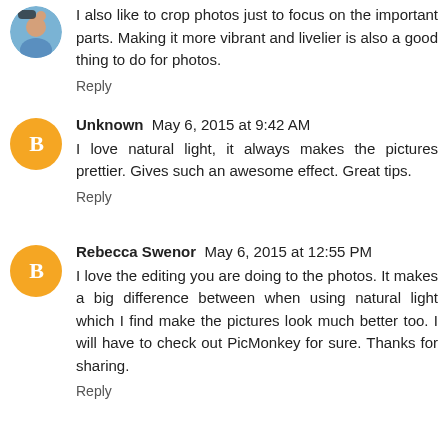I also like to crop photos just to focus on the important parts. Making it more vibrant and livelier is also a good thing to do for photos.
Reply
Unknown  May 6, 2015 at 9:42 AM
I love natural light, it always makes the pictures prettier. Gives such an awesome effect. Great tips.
Reply
Rebecca Swenor  May 6, 2015 at 12:55 PM
I love the editing you are doing to the photos. It makes a big difference between when using natural light which I find make the pictures look much better too. I will have to check out PicMonkey for sure. Thanks for sharing.
Reply